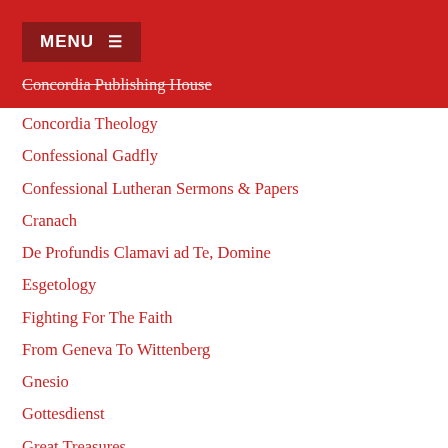MENU
Concordia Publishing House
Concordia Theology
Confessional Gadfly
Confessional Lutheran Sermons & Papers
Cranach
De Profundis Clamavi ad Te, Domine
Esgetology
Fighting For The Faith
From Geneva To Wittenberg
Gnesio
Gottesdienst
Great Treasures
Hymnoglypt
Issues, Etc.
John W. Kleinig Resources
Just And Sinner
KFUO AM